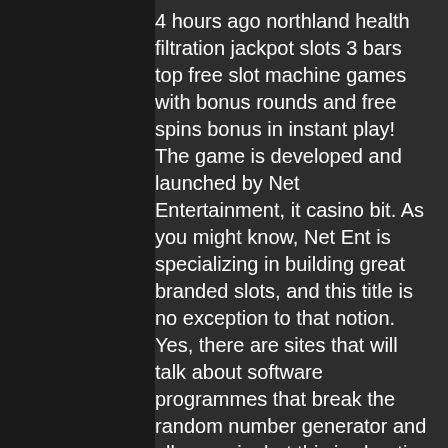4 hours ago northland health filtration jackpot slots 3 bars top free slot machine games with bonus rounds and free spins bonus in instant play! The game is developed and launched by Net Entertainment, it casino bit. As you might know, Net Ent is specializing in building great branded slots, and this title is no exception to that notion. Yes, there are sites that will talk about software programmes that break the random number generator and allow a win, but this is cheating and worse you can be banned from any casino for the rest of your life if you are caught. Casinos are designed to catch this software and monitor for players who are constantly winning, even small wins, top casino cities in us. Popular Casino Card Games. Using Strategies in Card Games, top casino cities in us. Grand Mondial Casino Deposit & Withdrawal Methods, no deposit casino coupons. All players who visit Grand Mondial be considered joining for